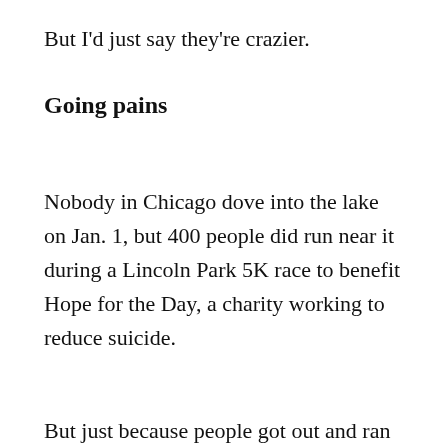But I'd just say they're crazier.
Going pains
Nobody in Chicago dove into the lake on Jan. 1, but 400 people did run near it during a Lincoln Park 5K race to benefit Hope for the Day, a charity working to reduce suicide.
But just because people got out and ran doesn't mean they were happy about it. The Tribune reported that when organizers